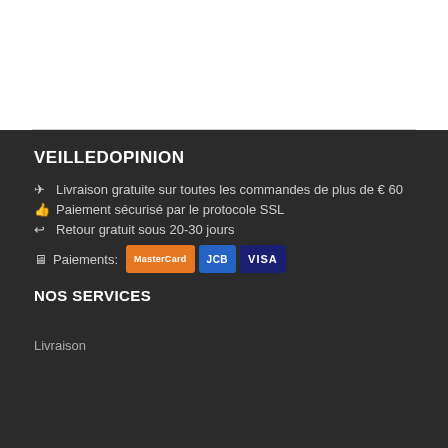VEILLEDOPINION
✈ Livraison gratuite sur toutes les commandes de plus de € 60
👍 Paiement sécurisé par le protocole SSL
↩ Retour gratuit sous 20-30 jours
Paiements: [MasterCard] [JCB] [VISA]
NOS SERVICES
Livraison